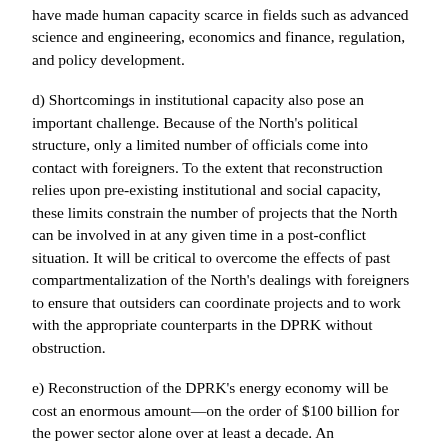have made human capacity scarce in fields such as advanced science and engineering, economics and finance, regulation, and policy development.
d) Shortcomings in institutional capacity also pose an important challenge. Because of the North's political structure, only a limited number of officials come into contact with foreigners. To the extent that reconstruction relies upon pre-existing institutional and social capacity, these limits constrain the number of projects that the North can be involved in at any given time in a post-conflict situation. It will be critical to overcome the effects of past compartmentalization of the North's dealings with foreigners to ensure that outsiders can coordinate projects and to work with the appropriate counterparts in the DPRK without obstruction.
e) Reconstruction of the DPRK's energy economy will be cost an enormous amount—on the order of $100 billion for the power sector alone over at least a decade. An international consortium will be necessary to mobilize these resources, and a significant fraction of the investment will come via private financial markets, as well as will be administered via international agencies such as the World Bank. Coordination and communication between international and ROKG agencies involved in the immediate relief and on-going